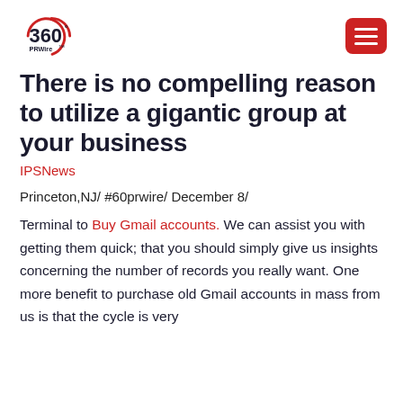360 PRWire [logo]
There is no compelling reason to utilize a gigantic group at your business
IPSNews
Princeton,NJ/ #60prwire/ December 8/
Terminal to Buy Gmail accounts. We can assist you with getting them quick; that you should simply give us insights concerning the number of records you really want. One more benefit to purchase old Gmail accounts in mass from us is that the cycle is very